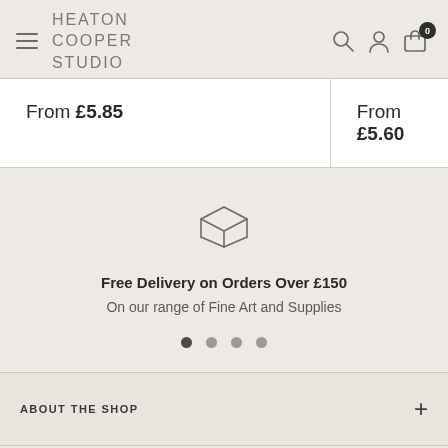HEATON COOPER STUDIO
From £5.85
From £5.60
[Figure (illustration): Package/box delivery icon]
Free Delivery on Orders Over £150
On our range of Fine Art and Supplies
ABOUT THE SHOP